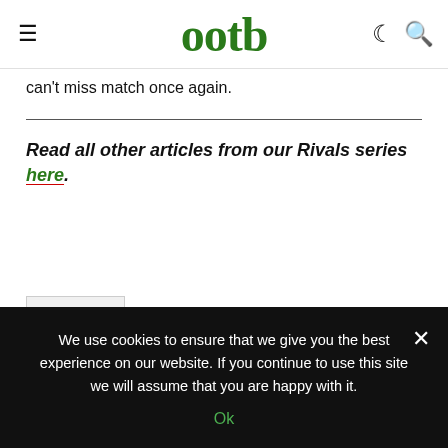ootb
can't miss match once again.
Read all other articles from our Rivals series here.
Author   Recent Posts
We use cookies to ensure that we give you the best experience on our website. If you continue to use this site we will assume that you are happy with it.
Ok